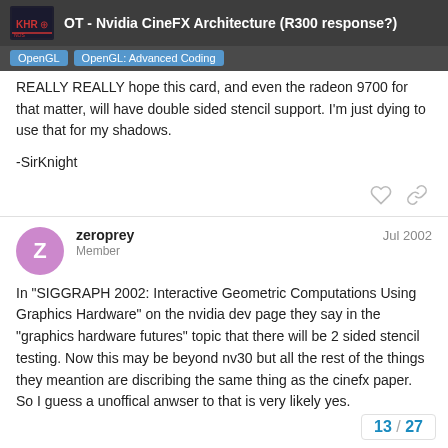OT - Nvidia CineFX Architecture (R300 response?) | OpenGL | OpenGL: Advanced Coding
REALLY REALLY hope this card, and even the radeon 9700 for that matter, will have double sided stencil support. I'm just dying to use that for my shadows.

-SirKnight
zeroprey
Member
Jul 2002
In "SIGGRAPH 2002: Interactive Geometric Computations Using Graphics Hardware" on the nvidia dev page they say in the "graphics hardware futures" topic that there will be 2 sided stencil testing. Now this may be beyond nv30 but all the rest of the things they meantion are discribing the same thing as the cinefx paper. So I guess a unoffical anwser to that is very likely yes.
13 / 27